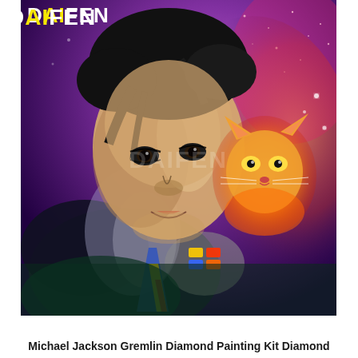[Figure (illustration): Colorful digital art/illustration depicting a person resembling Michael Jackson with dark curly hair, wearing a glittery jacket and colorful striped tie, holding something in a gloved hand, alongside a glowing orange cat/gremlin creature, set against a purple and pink cosmic starry background. A DAIFEN watermark logo appears in the top-left corner and faintly in the center of the image.]
Michael Jackson Gremlin Diamond Painting Kit Diamond